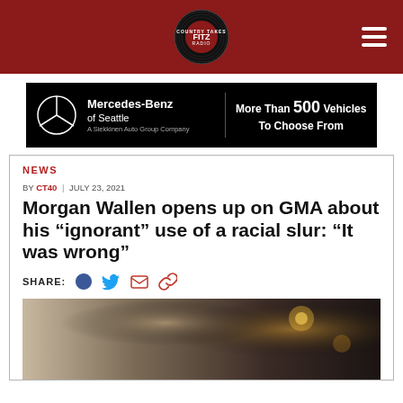Country Takes with Fitz — FITZ
[Figure (logo): FITZ radio show logo — circular black logo with text 'COUNTRY TAKES WITH FITZ' around the edge]
[Figure (photo): Mercedes-Benz of Seattle advertisement banner — black background with Mercedes logo, 'Mercedes-Benz of Seattle', 'A Siekkinen Auto Group Company', 'More Than 500 Vehicles To Choose From']
NEWS
BY CT40 | JULY 23, 2021
Morgan Wallen opens up on GMA about his "ignorant" use of a racial slur: "It was wrong"
SHARE:
[Figure (photo): Photo of Morgan Wallen performing, partially visible from chest up, dark stage lighting with warm stage lights in background]